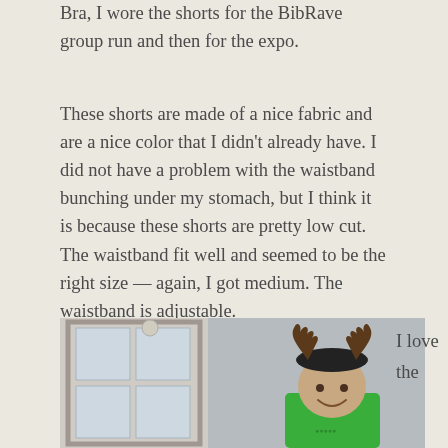Bra, I wore the shorts for the BibRave group run and then for the expo.
These shorts are made of a nice fabric and are a nice color that I didn't already have. I did not have a problem with the waistband bunching under my stomach, but I think it is because these shorts are pretty low cut. The waistband fit well and seemed to be the right size — again, I got medium. The waistband is adjustable.
[Figure (photo): Person wearing a green shirt and reindeer antler headband, standing in front of a white French door and gray wall, smiling at the camera.]
I love the